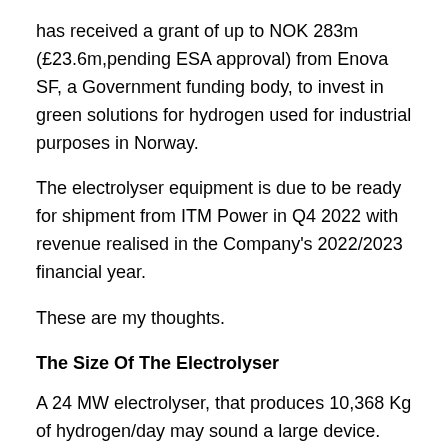has received a grant of up to NOK 283m (£23.6m, pending ESA approval) from Enova SF, a Government funding body, to invest in green solutions for hydrogen used for industrial purposes in Norway.
The electrolyser equipment is due to be ready for shipment from ITM Power in Q4 2022 with revenue realised in the Company's 2022/2023 financial year.
These are my thoughts.
The Size Of The Electrolyser
A 24 MW electrolyser, that produces 10,368 Kg of hydrogen/day may sound a large device.
This is an extract from the press release.
In January 2021, the Company received an order for the